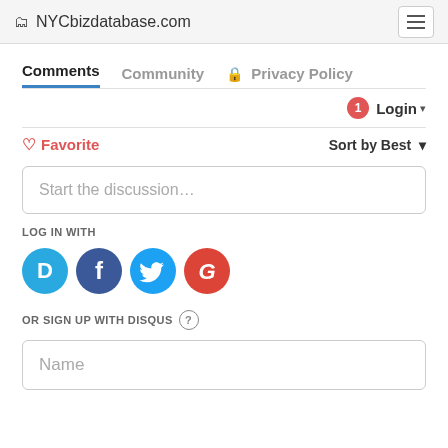NYCbizdatabase.com
Comments  Community  Privacy Policy
Login ▾
♡ Favorite    Sort by Best ▾
Start the discussion...
LOG IN WITH
[Figure (other): Social login icons: Disqus (D), Facebook (f), Twitter bird, Google (G)]
OR SIGN UP WITH DISQUS ?
Name